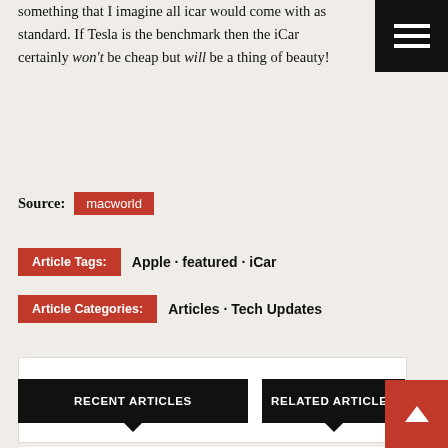something that I imagine all icar would come with as standard. If Tesla is the benchmark then the iCar certainly won't be cheap but will be a thing of beauty!
Source: macworld
Article Tags: Apple · featured · iCar
Article Categories: Articles · Tech Updates
[Figure (other): White advertisement/content block area]
[Figure (other): White content block area]
RECENT ARTICLES
RELATED ARTICLES